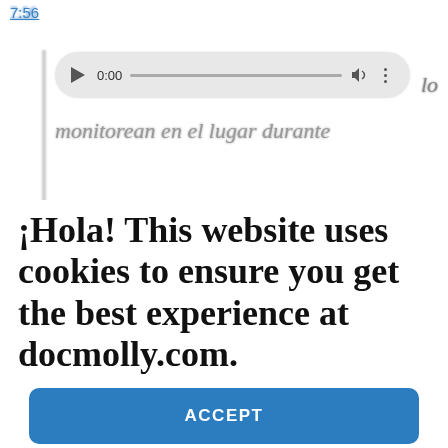7:56
[Figure (screenshot): Audio player widget showing 0:00 timestamp with play button, progress bar, volume and options icons on a rounded gray background]
lo
monitorean en el lugar durante
¡Hola! This website uses cookies to ensure you get the best experience at docmolly.com.
ACCEPT
Cookie Policy   Our Privacy Policy